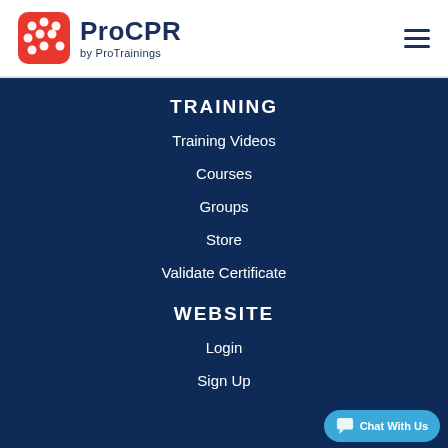[Figure (logo): ProCPR by ProTrainings logo — red rounded square with white dots pattern, next to text 'ProCPR' and 'by ProTrainings']
TRAINING
Training Videos
Courses
Groups
Store
Validate Certificate
WEBSITE
Login
Sign Up